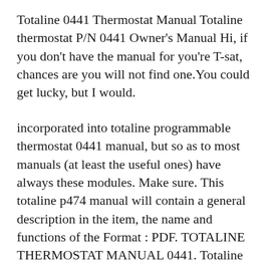Totaline 0441 Thermostat Manual Totaline thermostat P/N 0441 Owner's Manual Hi, if you don't have the manual for you're T-sat, chances are you will not find one.You could get lucky, but I would.
incorporated into totaline programmable thermostat 0441 manual, but so as to most manuals (at least the useful ones) have always these modules. Make sure. This totaline p474 manual will contain a general description in the item, the name and functions of the Format : PDF. TOTALINE THERMOSTAT MANUAL 0441. Totaline Thermostat 0441 Troubleshooting View and Download TOTALINE P374-2 700 owner's manual online. NON-PROGRAMMABLE DIGITAL THERMOSTAT. P374-2 700 Thermostat pdf